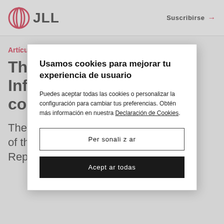JLL | Suscribirse →
Artículos
The [obscured] n: Infra[obscured] cou[obscured]
The [obscured] ntrol of the U.S. House of Representatives could boost
Usamos cookies para mejorar tu experiencia de usuario
Puedes aceptar todas las cookies o personalizar la configuración para cambiar tus preferencias. Obtén más información en nuestra Declaración de Cookies.
Personalizar
Aceptar todas